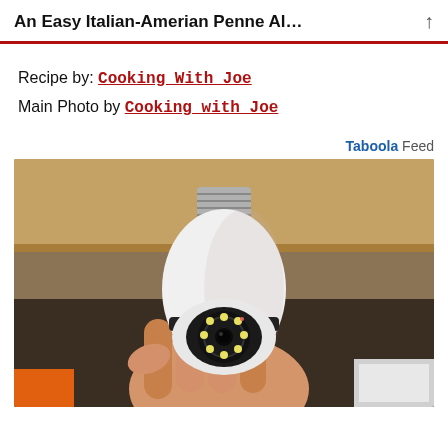An Easy Italian-Amerian Penne Al…
Recipe by: Cooking With Joe
Main Photo by Cooking with Joe
Tab00la Feed
[Figure (photo): A hand holding a white light-bulb-shaped security camera with visible LED ring and camera lens]